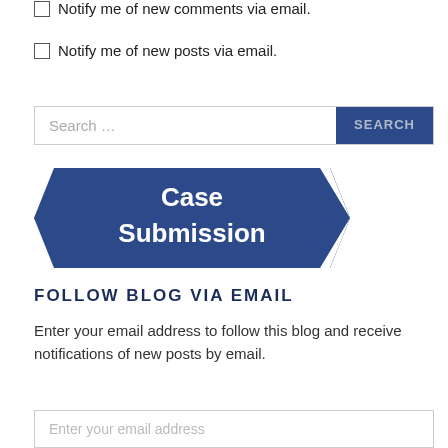Notify me of new comments via email.
Notify me of new posts via email.
[Figure (infographic): Blue ribbon/banner graphic with white bold text reading 'Case Submission']
FOLLOW BLOG VIA EMAIL
Enter your email address to follow this blog and receive notifications of new posts by email.
Enter your email address